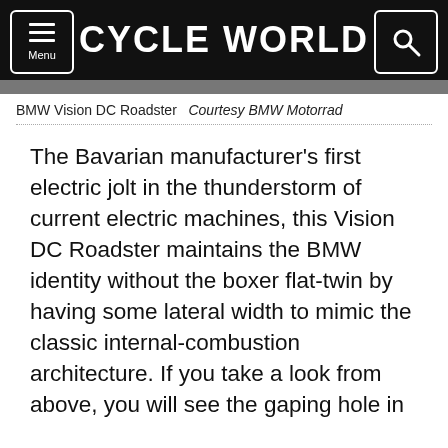CYCLE WORLD
BMW Vision DC Roadster   Courtesy BMW Motorrad
The Bavarian manufacturer's first electric jolt in the thunderstorm of current electric machines, this Vision DC Roadster maintains the BMW identity without the boxer flat-twin by having some lateral width to mimic the classic internal-combustion architecture. If you take a look from above, you will see the gaping hole in